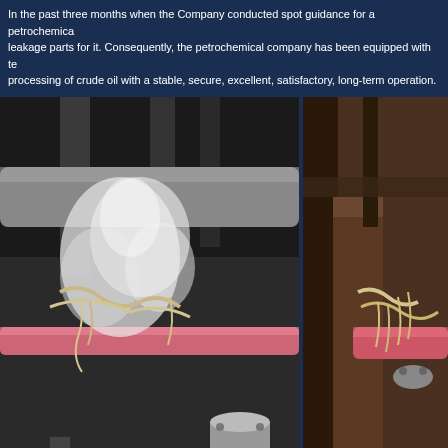In the past three months when the Company conducted spot guidance for a petrochemical leakage parts for it. Consequently, the petrochemical company has been equipped with te processing of crude oil with a stable, secure, excellent, satisfactory, long-term operation.
[Figure (photo): Photo of industrial pipe leakage scene showing steam/vapor escaping from pipe fittings with insulation material visible]
Leakage Scene
[Figure (photo): Photo of industrial pipe scene showing pipe fittings and connections, partially visible on right side of page]
Scene
[Figure (photo): Partial photo strip at bottom showing industrial equipment/pipes, cropped]